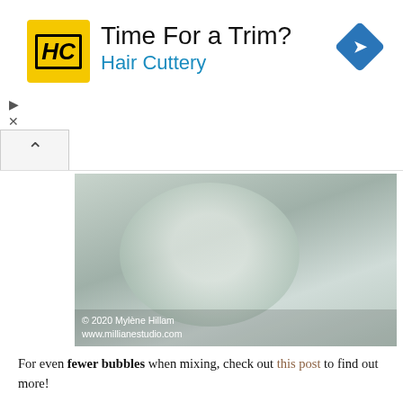[Figure (other): Advertisement banner for Hair Cuttery with logo, headline 'Time For a Trim?', subheading 'Hair Cuttery', and a blue diamond directional arrow icon on the right.]
[Figure (photo): Photo of a white bowl or container with what appears to be resin or a milky substance, with copyright text '© 2020 Mylène Hillam www.millianestudio.com' overlaid at the bottom.]
For even fewer bubbles when mixing, check out this post to find out more!
2. REST THE RESIN
Once you've mixed the resin, let it sit for 5-10 minutes. Set a timer so that you don't forget it.
Most of the bubbles you mixed into the resin will rise to the surface. They're much easier to deal with once they're sitting on the surface of the resin than when they're suspended in the